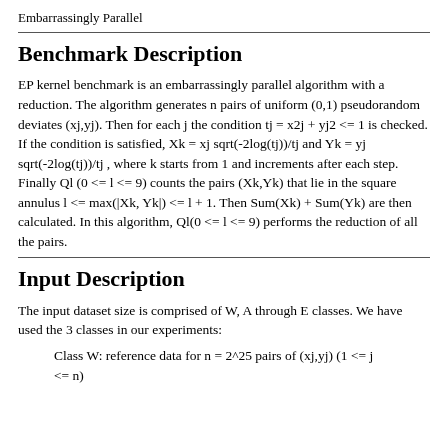Embarrassingly Parallel
Benchmark Description
EP kernel benchmark is an embarrassingly parallel algorithm with a reduction. The algorithm generates n pairs of uniform (0,1) pseudorandom deviates (xj,yj). Then for each j the condition tj = x2j + yj2 <= 1 is checked. If the condition is satisfied, Xk = xj sqrt(-2log(tj))/tj and Yk = yj sqrt(-2log(tj))/tj , where k starts from 1 and increments after each step. Finally Ql (0 <= l <= 9) counts the pairs (Xk,Yk) that lie in the square annulus l <= max(|Xk, Yk|) <= l + 1. Then Sum(Xk) + Sum(Yk) are then calculated. In this algorithm, Ql(0 <= l <= 9) performs the reduction of all the pairs.
Input Description
The input dataset size is comprised of W, A through E classes. We have used the 3 classes in our experiments:
Class W: reference data for n = 2^25 pairs of (xj,yj) (1 <= j <= n)